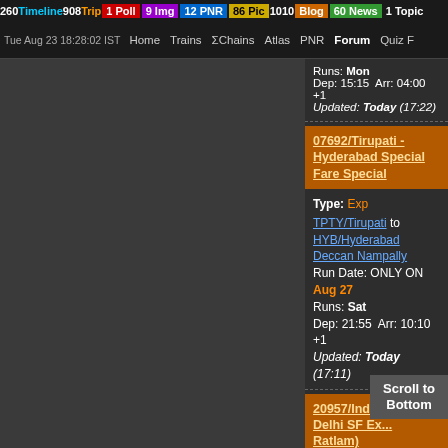260 Timeline 908 Trip 1 Poll 9 Img 12 PNR 86 Pic 1010 Blog 60 News 1 Topic
Tue Aug 23 18:28:02 IST  Home  Trains  ΣChains  Atlas  PNR  Forum  Quiz
Runs: Mon
Dep: 15:15  Arr: 04:00 +1
Updated: Today (17:22)
07692/Tirupati - Hyderabad Special Fare Special
Type: Exp
TPTY/Tirupati to HYB/Hyderabad Deccan Nampally
Run Date: ONLY ON Aug 27
Runs: Sat
Dep: 21:55  Arr: 10:10 +1
Updated: Today (17:11)
20957/Indore - New Delhi SF Ex... (via Ratlam)
Type: SF